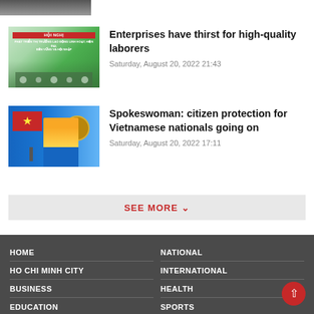[Figure (photo): Partial thumbnail image at top — appears to be a monochrome conference or outdoor scene]
Enterprises have thirst for high-quality laborers
Saturday, August 20, 2022 21:43
[Figure (photo): Spokeswoman at podium with Vietnamese flag and government seal in background, wearing yellow jacket]
Spokeswoman: citizen protection for Vietnamese nationals going on
Saturday, August 20, 2022 17:11
SEE MORE
HOME | HO CHI MINH CITY | BUSINESS | EDUCATION | NATIONAL | INTERNATIONAL | HEALTH | SPORTS